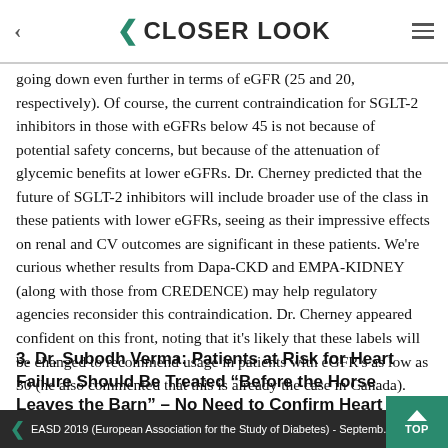< Closer Look
going down even further in terms of eGFR (25 and 20, respectively). Of course, the current contraindication for SGLT-2 inhibitors in those with eGFRs below 45 is not because of potential safety concerns, but because of the attenuation of glycemic benefits at lower eGFRs. Dr. Cherney predicted that the future of SGLT-2 inhibitors will include broader use of the class in these patients with lower eGFRs, seeing as their impressive effects on renal and CV outcomes are significant in these patients. We're curious whether results from Dapa-CKD and EMPA-KIDNEY (along with those from CREDENCE) may help regulatory agencies reconsider this contraindication. Dr. Cherney appeared confident on this front, noting that it's likely that these labels will be changed to recommend usage in patients with eGFR's as low as 30 (he also commented that this is already the case in Canada).
3. Dr. Subodh Verma: Patients at Risk for Heart Failure Should Be Treated “Before the Horse Leaves the Barn” – No Need to Confirm Heart Failure Diagnosis Before
EASD 2019 (European Association for the Study of Diabetes) - Septemb...